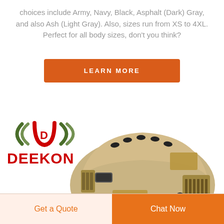choices include Army, Navy, Black, Asphalt (Dark) Gray, and also Ash (Light Gray). Also, sizes run from XS to 4XL. Perfect for all body sizes, don't you think?
LEARN MORE
[Figure (logo): DEEKON brand logo with stylized arc waves above bold red DEEKON text]
[Figure (photo): Tan/desert colored military tactical FAST helmet with rails, velcro strips, and side accessories on white background]
Get a Quote
Chat Now